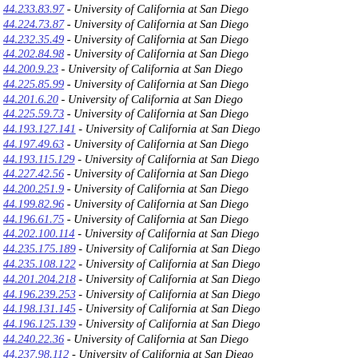44.233.83.97 - University of California at San Diego
44.224.73.87 - University of California at San Diego
44.232.35.49 - University of California at San Diego
44.202.84.98 - University of California at San Diego
44.200.9.23 - University of California at San Diego
44.225.85.99 - University of California at San Diego
44.201.6.20 - University of California at San Diego
44.225.59.73 - University of California at San Diego
44.193.127.141 - University of California at San Diego
44.197.49.63 - University of California at San Diego
44.193.115.129 - University of California at San Diego
44.227.42.56 - University of California at San Diego
44.200.251.9 - University of California at San Diego
44.199.82.96 - University of California at San Diego
44.196.61.75 - University of California at San Diego
44.202.100.114 - University of California at San Diego
44.235.175.189 - University of California at San Diego
44.235.108.122 - University of California at San Diego
44.201.204.218 - University of California at San Diego
44.196.239.253 - University of California at San Diego
44.198.131.145 - University of California at San Diego
44.196.125.139 - University of California at San Diego
44.240.22.36 - University of California at San Diego
44.237.98.112 - University of California at San Diego
44.241.180.194 - University of California at San Diego
44.200.181.195 - University of California at San Diego
44.241.1.15 - University of California at San Diego
44.234.190.204 - University of California at San Diego
44.240.87.101 - University of California at San Diego
44.239.236.250 - University of California at San Diego